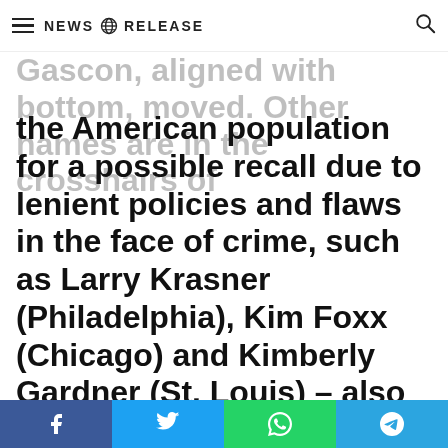NEWS RELEASE
Gascon, aligned with bottom, moved. Other names are in the crosshairs of the American population for a possible recall due to lenient policies and flaws in the face of crime, such as Larry Krasner (Philadelphia), Kim Foxx (Chicago) and Kimberly Gardner (St. Louis) – also Soros' goddaughter.
It is up to the mayor of San Francisco to appoint another attorney until the elections that take place in November.